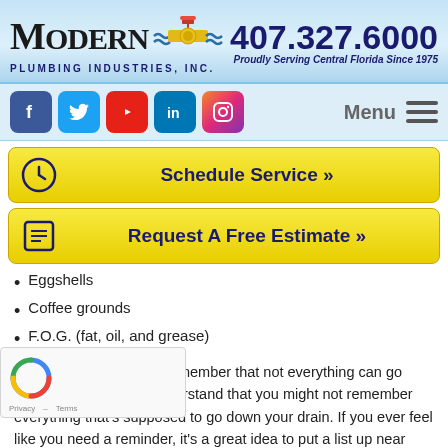[Figure (logo): Modern Plumbing Industries, Inc. logo with pipe/valve icon and wave marks]
407.327.6000
Proudly Serving Central Florida Since 1975
[Figure (infographic): Social media icons: Facebook, Twitter, YouTube, LinkedIn, Instagram]
Menu
Schedule Service »
Request A Free Estimate »
Eggshells
Coffee grounds
F.O.G. (fat, oil, and grease)
It's important for you to remember that not everything can go down your drain. We understand that you might not remember everything that's supposed to go down your drain. If you ever feel like you need a reminder, it's a great idea to put a list up near your sink so you can reference it when you need it most.
2. Clean Your Sink